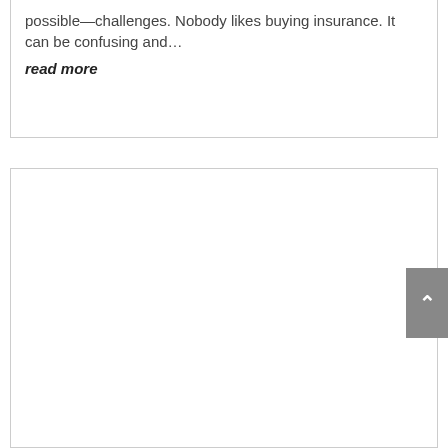possible—challenges. Nobody likes buying insurance. It can be confusing and…
read more
[Figure (other): Empty white card/box region below the first card, representing a second article card placeholder]